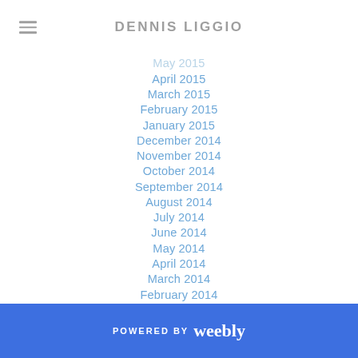DENNIS LIGGIO
May 2015
April 2015
March 2015
February 2015
January 2015
December 2014
November 2014
October 2014
September 2014
August 2014
July 2014
June 2014
May 2014
April 2014
March 2014
February 2014
January 2014
POWERED BY weebly